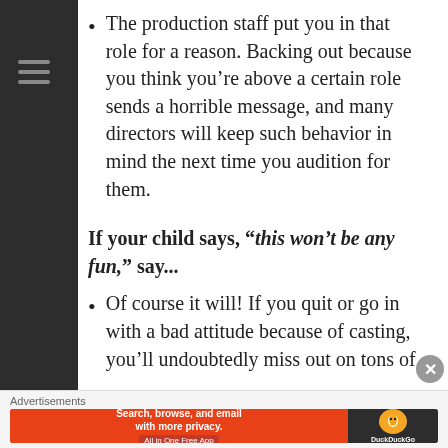The production staff put you in that role for a reason. Backing out because you think you're above a certain role sends a horrible message, and many directors will keep such behavior in mind the next time you audition for them.
If your child says, “this won’t be any fun,” say...
Of course it will! If you quit or go in with a bad attitude because of casting, you'll undoubtedly miss out on tons of
[Figure (screenshot): DuckDuckGo advertisement banner: orange left section with 'Search, browse, and email with more privacy. All in One Free App' text, and dark right section with DuckDuckGo logo.]